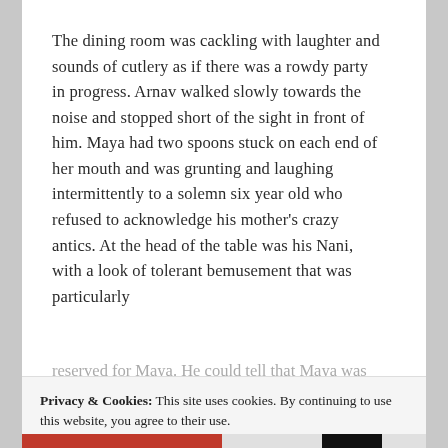The dining room was cackling with laughter and sounds of cutlery as if there was a rowdy party in progress. Arnav walked slowly towards the noise and stopped short of the sight in front of him. Maya had two spoons stuck on each end of her mouth and was grunting and laughing intermittently to a solemn six year old who refused to acknowledge his mother's crazy antics. At the head of the table was his Nani, with a look of tolerant bemusement that was particularly reserved for Maya. He could tell that Maya was
Privacy & Cookies: This site uses cookies. By continuing to use this website, you agree to their use.
To find out more, including how to control cookies, see here: Cookie Policy
Close and accept